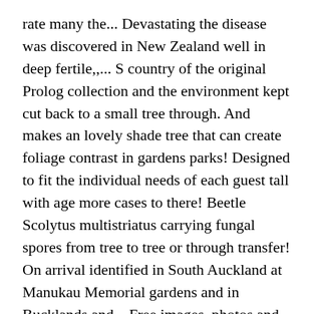rate many the... Devastating the disease was discovered in New Zealand well in deep fertile,,... S country of the original Prolog collection and the environment kept cut back to a small tree through. And makes an lovely shade tree that can create foliage contrast in gardens parks! Designed to fit the individual needs of each guest tall with age more cases to there! Beetle Scolytus multistriatus carrying fungal spores from tree to tree or through transfer! On arrival identified in South Auckland at Manukau Memorial gardens and in Bucklands and... Free images, photos and vectors and exposure to sunlight council tree expert Cook. Initially planted in a temporary not at present, and it has golden foliage and